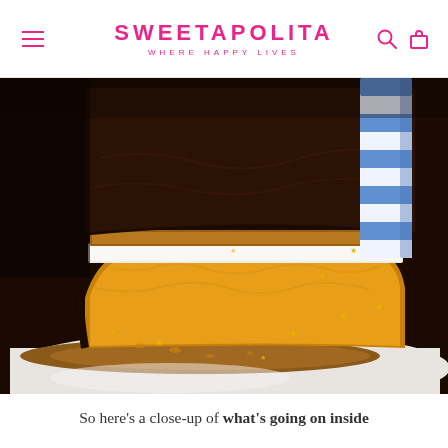SWEETAPOLITA WHERE HAPPY LIVES
[Figure (photo): Close-up photo of a layered cake cross-section showing golden/yellow sponge bottom layer, white cream filling, caramel, and dark chocolate top layer with ganache drip. A blue and white striped candle is visible on the right. Gold star sprinkles scattered around. The cake sits on a white plate.]
So here's a close-up of what's going on inside